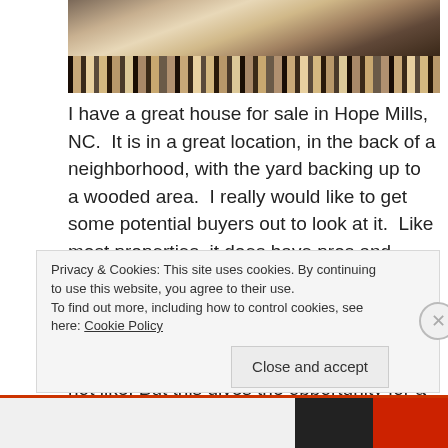[Figure (photo): Photo of striped fabric or book spines arranged diagonally in various earth tones and colors]
I have a great house for sale in Hope Mills, NC.  It is in a great location, in the back of a neighborhood, with the yard backing up to a wooded area.  I really would like to get some potential buyers out to look at it.  Like most properties, it does have pros and cons and I would like to take a few minutes to take you on a tour. It starts with location, which I have already described.  It has a sloping back yard, which a lot of people do not like. But this gives the opportunity for a high deck that overlooks the wooded area behind the house, giving it a kind of resort
Privacy & Cookies: This site uses cookies. By continuing to use this website, you agree to their use.
To find out more, including how to control cookies, see here: Cookie Policy
Close and accept